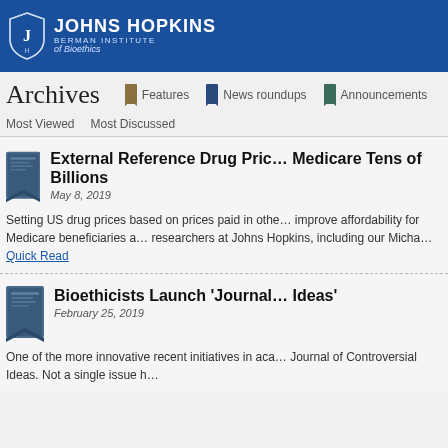Johns Hopkins Berman Institute of Bioethics
Archives
Features  News roundups  Announcements
Most Viewed  Most Discussed
External Reference Drug Pric… Medicare Tens of Billions
May 8, 2019
Setting US drug prices based on prices paid in other countries could improve affordability for Medicare beneficiaries and researchers at Johns Hopkins, including our Micha…
Quick Read
Bioethicists Launch 'Journal… Ideas'
February 25, 2019
One of the more innovative recent initiatives in academia is the Journal of Controversial Ideas. Not a single issue h…